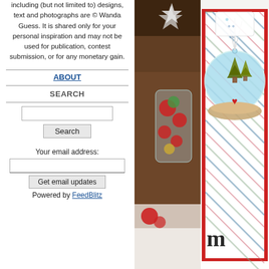including (but not limited to) designs, text and photographs are © Wanda Guess. It is shared only for your personal inspiration and may not be used for publication, contest submission, or for any monetary gain.
ABOUT
SEARCH
Your email address:
Powered by FeedBlitz
[Figure (photo): Christmas scene photo showing a decorative snow globe card with red border and diagonal striped pattern, trees, on a white surface with blurred ornaments and jar in background]